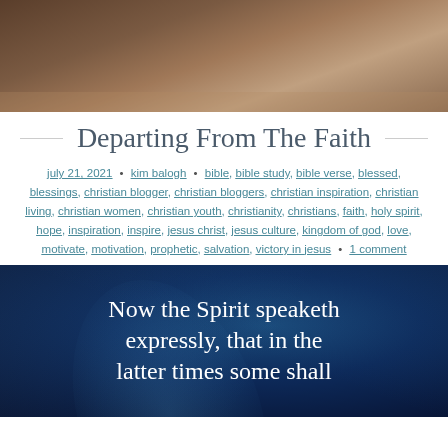[Figure (photo): Top partial photo showing sepia-toned hands or figure, cropped]
Departing From The Faith
july 21, 2021 • kim balogh • bible, bible study, bible verse, blessed, blessings, christian blogger, christian bloggers, christian inspiration, christian living, christian women, christian youth, christianity, christians, faith, holy spirit, hope, inspiration, inspire, jesus christ, jesus culture, kingdom of god, love, motivate, motivation, prophetic, salvation, victory in jesus • 1 comment
[Figure (photo): Dark blue background with light streaks and white text reading: Now the Spirit speaketh expressly, that in the latter times some shall]